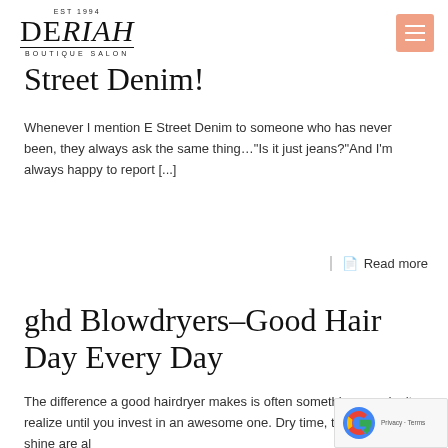EST 1994 DE RIAH BOUTIQUE SALON
Street Denim!
Whenever I mention E Street Denim to someone who has never been, they always ask the same thing…"Is it just jeans?"And I'm always happy to report [...]
Read more
ghd Blowdryers-Good Hair Day Every Day
The difference a good hairdryer makes is often something you don't realize until you invest in an awesome one. Dry time, texture, and shine are all [...]